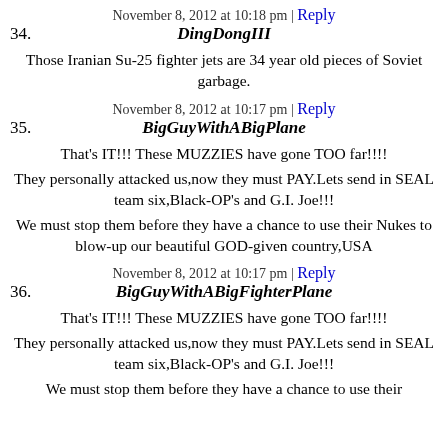November 8, 2012 at 10:18 pm | Reply
34. DingDongIII
Those Iranian Su-25 fighter jets are 34 year old pieces of Soviet garbage.
November 8, 2012 at 10:17 pm | Reply
35. BigGuyWithABigPlane
That's IT!!! These MUZZIES have gone TOO far!!!!
They personally attacked us,now they must PAY.Lets send in SEAL team six,Black-OP's and G.I. Joe!!!
We must stop them before they have a chance to use their Nukes to blow-up our beautiful GOD-given country,USA
November 8, 2012 at 10:17 pm | Reply
36. BigGuyWithABigFighterPlane
That's IT!!! These MUZZIES have gone TOO far!!!!
They personally attacked us,now they must PAY.Lets send in SEAL team six,Black-OP's and G.I. Joe!!!
We must stop them before they have a chance to use their